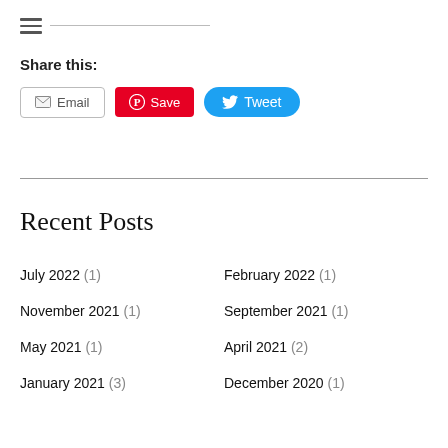Share this:
[Figure (infographic): Social share buttons: Email, Save (Pinterest), Tweet (Twitter)]
Recent Posts
July 2022 (1)
February 2022 (1)
November 2021 (1)
September 2021 (1)
May 2021 (1)
April 2021 (2)
January 2021 (3)
December 2020 (1)